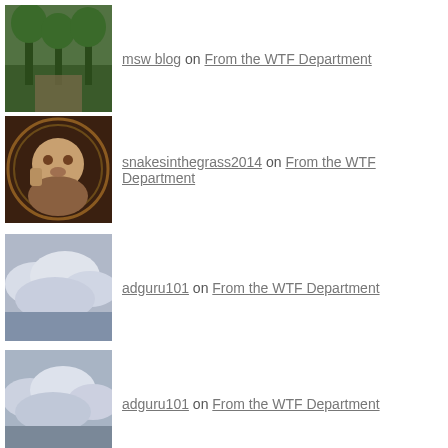msw blog on From the WTF Department
snakesinthegrass2014 on From the WTF Department
adguru101 on From the WTF Department
adguru101 on From the WTF Department
ARCHIVES
August 2022
June 2022
May 2022
April 2022
March 2022
February 2022